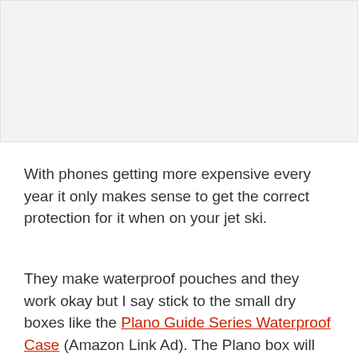[Figure (photo): Image placeholder area at the top of the page, light gray background]
With phones getting more expensive every year it only makes sense to get the correct protection for it when on your jet ski.
They make waterproof pouches and they work okay but I say stick to the small dry boxes like the Plano Guide Series Waterproof Case (Amazon Link Ad). The Plano box will have soft padding inside of